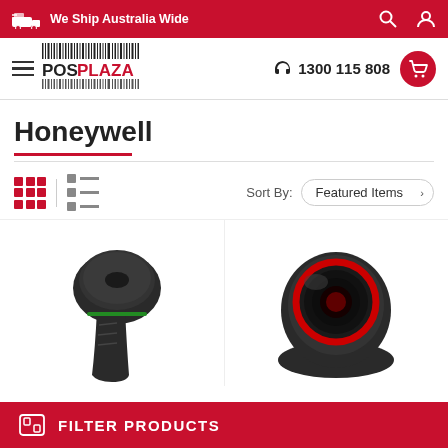We Ship Australia Wide
[Figure (logo): POS Plaza logo with barcode and hamburger menu]
1300 115 808
Honeywell
Sort By: Featured Items
[Figure (photo): Honeywell barcode scanner - handheld type with green indicator light]
[Figure (photo): Honeywell barcode scanner - presentation type with red scanning aperture]
FILTER PRODUCTS